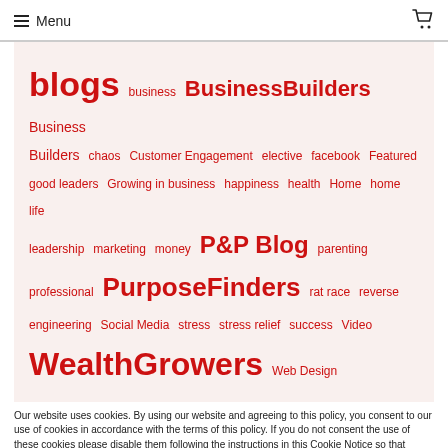Menu
[Figure (other): Tag cloud with various blog-related tags in red on a light pink background: blogs (largest), BusinessBuilders (large), Business Builders, chaos, Customer Engagement, elective, facebook, Featured, good leaders, Growing in business, happiness, health, Home, home life, leadership, marketing, money, P&P Blog (large), parenting, professional, PurposeFinders (large), rat race, reverse engineering, Social Media, stress, stress relief, success, Video, WealthGrowers (large), Web Design]
Our website uses cookies. By using our website and agreeing to this policy, you consent to our use of cookies in accordance with the terms of this policy. If you do not consent the use of these cookies please disable them following the instructions in this Cookie Notice so that cookies from this website cannot be placed on your device.
I ACCEPT COOKIES